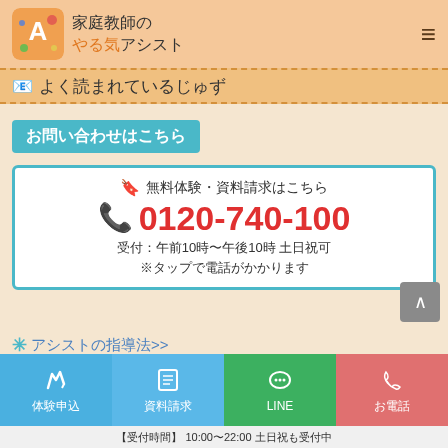[Figure (logo): 家庭教師のやる気アシスト logo with decorative icon]
よく読まれているじゅず
お問い合わせはこちら
無料体験・資料請求はこちら
0120-740-100
受付：午前10時〜午後10時 土日祝可
※タップで電話がかかります
アシストの指導法>>
□□□□□□□□□
[Figure (infographic): Bottom navigation bar with 体験申込, 資料請求, LINE, お電話 buttons]
【受付時間】 10:00〜22:00 土日祝も受付中